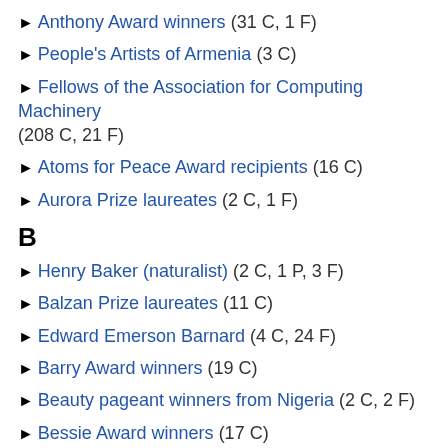► Anthony Award winners (31 C, 1 F)
► People's Artists of Armenia (3 C)
► Fellows of the Association for Computing Machinery (208 C, 21 F)
► Atoms for Peace Award recipients (16 C)
► Aurora Prize laureates (2 C, 1 F)
B
► Henry Baker (naturalist) (2 C, 1 P, 3 F)
► Balzan Prize laureates (11 C)
► Edward Emerson Barnard (4 C, 24 F)
► Barry Award winners (19 C)
► Beauty pageant winners from Nigeria (2 C, 2 F)
► Bessie Award winners (17 C)